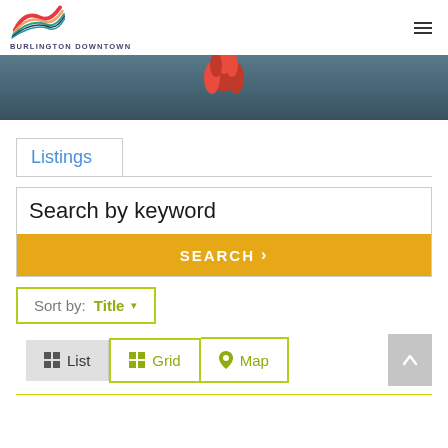BURLINGTON DOWNTOWN
[Figure (photo): Hero image with red flower/rooster comb against blurred background]
Listings
Search by keyword
SEARCH >
Sort by: Title
List  Grid  Map